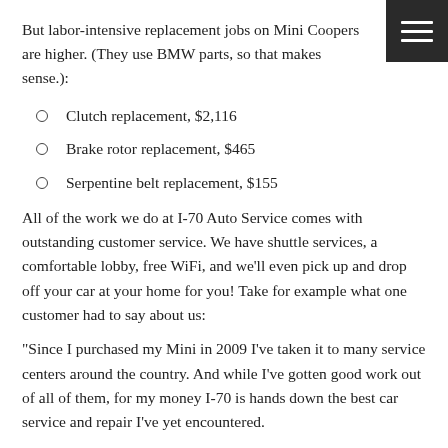But labor-intensive replacement jobs on Mini Coopers are higher. (They use BMW parts, so that makes sense.):
Clutch replacement, $2,116
Brake rotor replacement, $465
Serpentine belt replacement, $155
All of the work we do at I-70 Auto Service comes with outstanding customer service. We have shuttle services, a comfortable lobby, free WiFi, and we'll even pick up and drop off your car at your home for you! Take for example what one customer had to say about us:
"Since I purchased my Mini in 2009 I've taken it to many service centers around the country. And while I've gotten good work out of all of them, for my money I-70 is hands down the best car service and repair I've yet encountered.